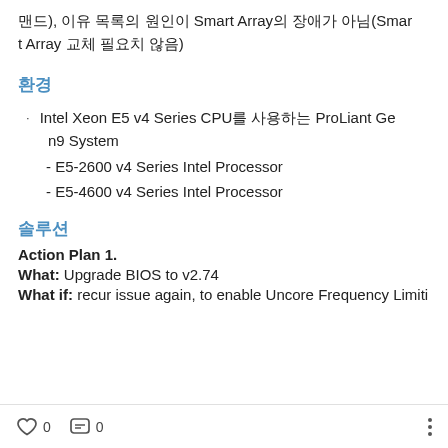맨드), 이유 목록의 원인이 Smart Array의 장애가 아님(Smart Array 교체 필요치 않음)
환경
Intel Xeon E5 v4 Series CPU를 사용하는 ProLiant Gen9 System
- E5-2600 v4 Series Intel Processor
- E5-4600 v4 Series Intel Processor
솔루션
Action Plan 1.
What: Upgrade BIOS to v2.74
What if: recur issue again, to enable Uncore Frequency Limiti
0  0